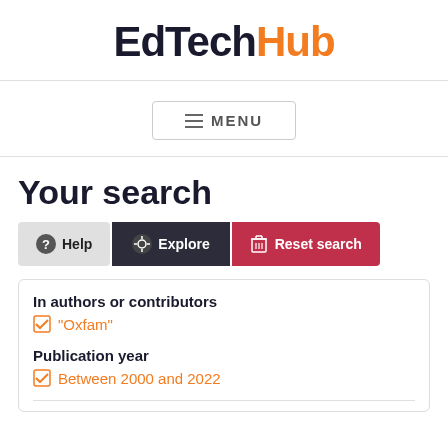EdTechHub
[Figure (other): MENU navigation button with hamburger icon]
Your search
[Figure (other): Help, Explore, and Reset search buttons]
In authors or contributors
"Oxfam"
Publication year
Between 2000 and 2022